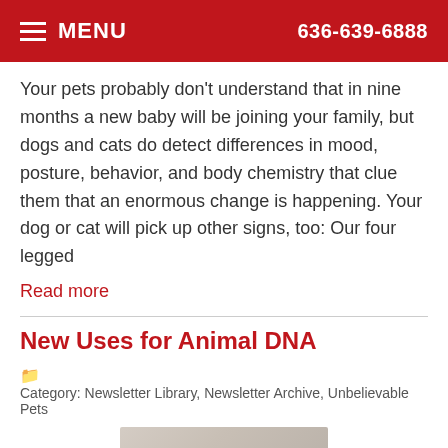MENU  636-639-6888
Your pets probably don't understand that in nine months a new baby will be joining your family, but dogs and cats do detect differences in mood, posture, behavior, and body chemistry that clue them that an enormous change is happening. Your dog or cat will pick up other signs, too: Our four legged
Read more
New Uses for Animal DNA
Category: Newsletter Library, Newsletter Archive, Unbelievable Pets
[Figure (photo): Partial image of an article with an Accessibility View overlay bar at the bottom right]